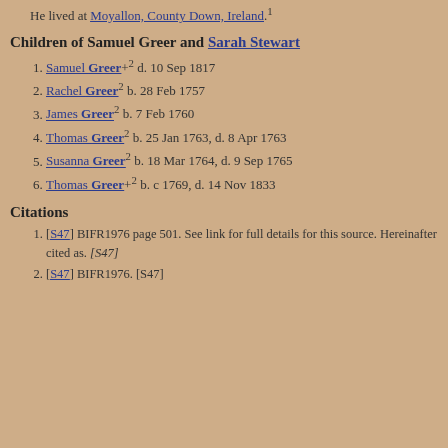He lived at Moyallon, County Down, Ireland.¹
Children of Samuel Greer and Sarah Stewart
1. Samuel Greer+² d. 10 Sep 1817
2. Rachel Greer² b. 28 Feb 1757
3. James Greer² b. 7 Feb 1760
4. Thomas Greer² b. 25 Jan 1763, d. 8 Apr 1763
5. Susanna Greer² b. 18 Mar 1764, d. 9 Sep 1765
6. Thomas Greer+² b. c 1769, d. 14 Nov 1833
Citations
1. [S47] BIFR1976 page 501. See link for full details for this source. Hereinafter cited as. [S47]
2. [S47] BIFR1976. [S47]